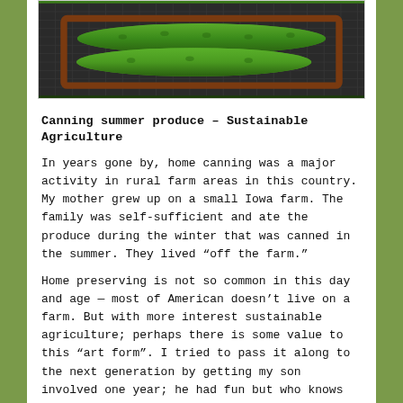[Figure (photo): Photo of green cucumbers in a brown wicker/bamboo tray on a dark mesh surface]
Canning summer produce – Sustainable Agriculture
In years gone by, home canning was a major activity in rural farm areas in this country. My mother grew up on a small Iowa farm. The family was self-sufficient and ate the produce during the winter that was canned in the summer. They lived “off the farm.”
Home preserving is not so common in this day and age — most of American doesn’t live on a farm. But with more interest sustainable agriculture; perhaps there is some value to this “art form”. I tried to pass it along to the next generation by getting my son involved one year; he had fun but who knows if he will continue the tradition. He’s more interested in making wine!